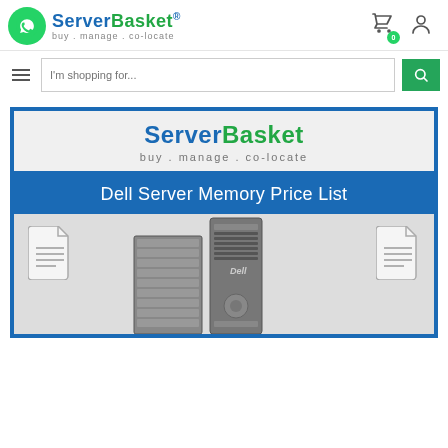[Figure (logo): ServerBasket logo with WhatsApp icon, text 'buy . manage . co-locate', cart and user icons in top navigation header]
[Figure (screenshot): Search bar with hamburger menu, text input 'I'm shopping for...' and green search button]
[Figure (infographic): ServerBasket promotional banner with logo, 'Dell Server Memory Price List' title bar in blue, and server hardware images with document icons]